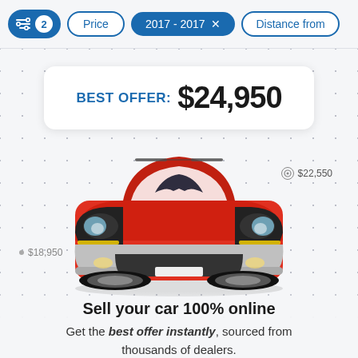Price  2017 - 2017 ×  Distance from
[Figure (screenshot): Best offer card showing BEST OFFER: $24,950 with a dotted grid background, a red Ford Escape SUV in the center, a $22,550 price label on the right, and a $18,950 price label on the left]
Sell your car 100% online
Get the best offer instantly, sourced from thousands of dealers.